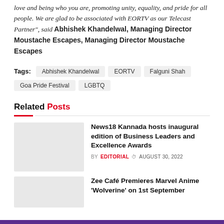love and being who you are, promoting unity, equality, and pride for all people. We are glad to be associated with EORTV as our Telecast Partner", said Abhishek Khandelwal, Managing Director Moustache Escapes, Managing Director Moustache Escapes
Tags: Abhishek Khandelwal   EORTV   Falguni Shah   Goa Pride Festival   LGBTQ
Related Posts
News18 Kannada hosts inaugural edition of Business Leaders and Excellence Awards
BY EDITORIAL  AUGUST 30, 2022
Zee Café Premieres Marvel Anime 'Wolverine' on 1st September